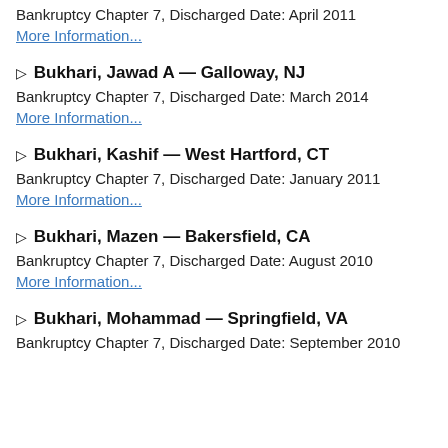Bankruptcy Chapter 7, Discharged Date: April 2011
More Information...
▷ Bukhari, Jawad A — Galloway, NJ
Bankruptcy Chapter 7, Discharged Date: March 2014
More Information...
▷ Bukhari, Kashif — West Hartford, CT
Bankruptcy Chapter 7, Discharged Date: January 2011
More Information...
▷ Bukhari, Mazen — Bakersfield, CA
Bankruptcy Chapter 7, Discharged Date: August 2010
More Information...
▷ Bukhari, Mohammad — Springfield, VA
Bankruptcy Chapter 7, Discharged Date: September 2010